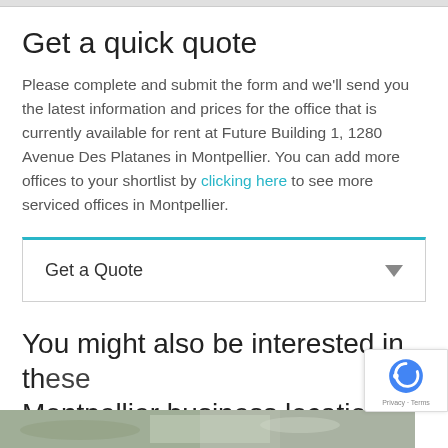Get a quick quote
Please complete and submit the form and we'll send you the latest information and prices for the office that is currently available for rent at Future Building 1, 1280 Avenue Des Platanes in Montpellier. You can add more offices to your shortlist by clicking here to see more serviced offices in Montpellier.
Get a Quote
You might also be interested in these Montpellier business locations
[Figure (photo): Partial image strip at the bottom of the page showing a blurred outdoor scene]